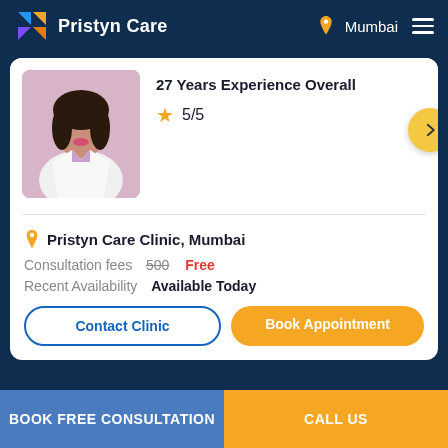Pristyn Care — Mumbai
27 Years Experience Overall
5/5
Pristyn Care Clinic, Mumbai
Consultation fees  500  Free
Recent Availability  Available Today
Contact Clinic
Book Appointment
BOOK FREE CONSULTATION   CALL US